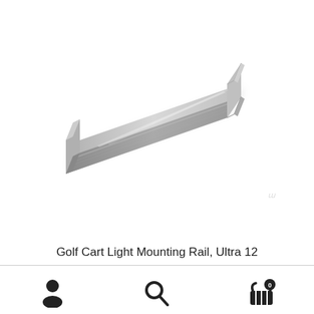[Figure (photo): A silver/chrome aluminum mounting rail (Golf Cart Light Mounting Rail, Ultra 12) shown diagonally from lower-left to upper-right against a white background. The rail is elongated, metallic with a C-channel profile.]
Golf Cart Light Mounting Rail, Ultra 12
[Figure (infographic): Bottom navigation bar with three icons: a person/user icon on the left, a search/magnifying glass icon in the center, and a shopping basket/cart icon with a '0' badge on the right.]